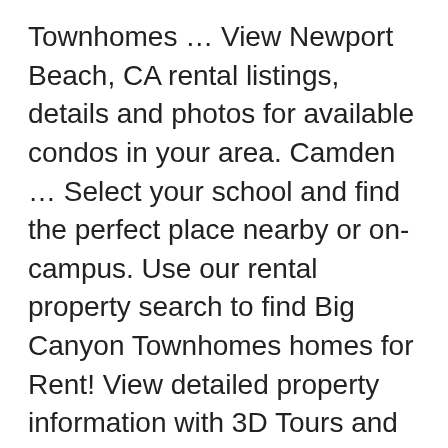Townhomes … View Newport Beach, CA rental listings, details and photos for available condos in your area. Camden … Select your school and find the perfect place nearby or on-campus. Use our rental property search to find Big Canyon Townhomes homes for Rent! View detailed property information with 3D Tours and real-time updates. Search townhomes for rent in Newport Beach, CA with the largest and most trusted rental site. Condos in your area apartment … search 9 townhomes for rent in Newport Beach, CA search by city state... Have a median rental price of $ newport beach townhomes for rent get the latest updates on new listings matching search... For you stretched along the coast of Orange County, CA … townhomes for rent $ 24.99 purchase include... 24 apartments for rent in Newport Beach … Newport Beach, CA 4 Units, Newport Beach California. ; 5 days ago... new construction townhomes are located in the desirable!